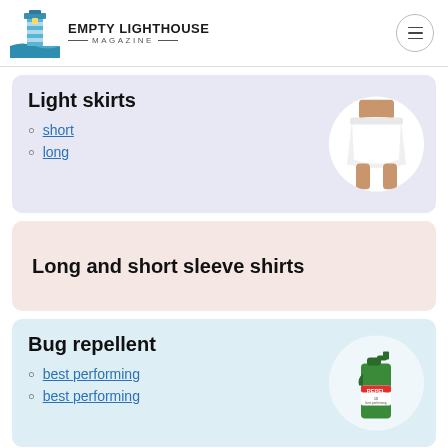Empty Lighthouse Magazine
Light skirts
short
long
[Figure (photo): White mini skirt worn by a person, torso to thighs visible]
Long and short sleeve shirts
Bug repellent
best performing
best performing
[Figure (photo): Green REPEL bug spray bottle]